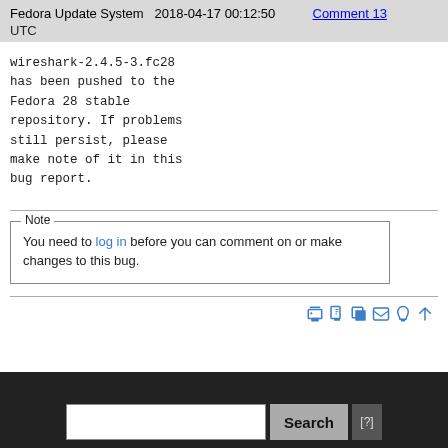Fedora Update System   2018-04-17 00:12:50   Comment 13 UTC
wireshark-2.4.5-3.fc28
has been pushed to the
Fedora 28 stable
repository. If problems
still persist, please
make note of it in this
bug report.
Note
You need to log in before you can comment on or make changes to this bug.
[Figure (infographic): Row of blue icon buttons: print, download, copy, window, bell, up-arrow]
Search [?]